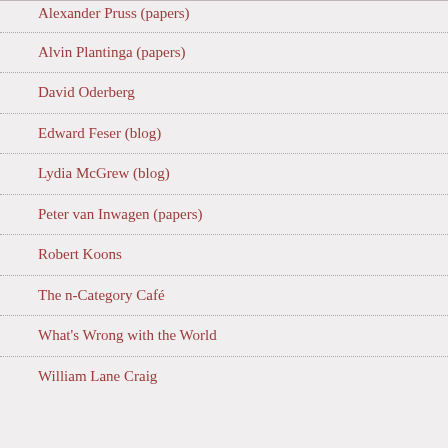Alexander Pruss (papers)
Alvin Plantinga (papers)
David Oderberg
Edward Feser (blog)
Lydia McGrew (blog)
Peter van Inwagen (papers)
Robert Koons
The n-Category Café
What's Wrong with the World
William Lane Craig